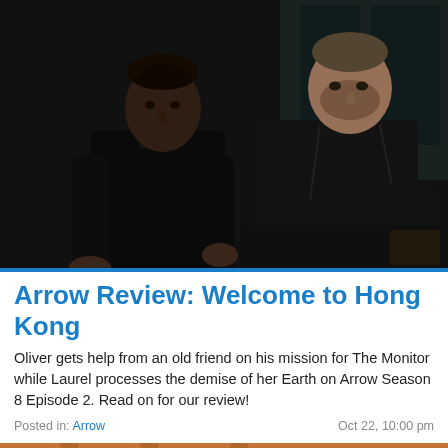[Figure (photo): Two men in black leather jackets in a dark interior room. One man is Black, standing on the left; the other is white with stubble, leaning forward on the right. Dark windows behind them.]
Arrow Review: Welcome to Hong Kong
Oliver gets help from an old friend on his mission for The Monitor while Laurel processes the demise of her Earth on Arrow Season 8 Episode 2. Read on for our review!
Posted in: Arrow   Oct 22, 10:00 pm
[Figure (photo): Partial view of a room with warm reddish-orange tones, columns or pillars visible.]